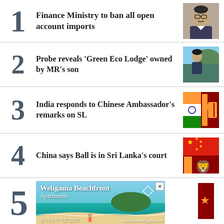1. Finance Ministry to ban all open account imports
2. Probe reveals 'Green Eco Lodge' owned by MR's son
3. India responds to Chinese Ambassador's remarks on SL
4. China says Ball is in Sri Lanka's court
5. [Advertisement: Weligama Beachfront Apartments]
6. (partial)